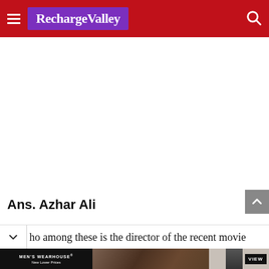RechargeValley
Ans. Azhar Ali
ho among these is the director of the recent movie
[Figure (screenshot): Men's Wearhouse advertisement banner with couple in formal wear and 'VIEW' button]